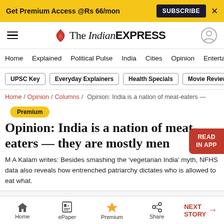Get Premium Access @Rs 66/mon  SUBSCRIBE  ×
The Indian EXPRESS
Home / Explained / Political Pulse / India / Cities / Opinion / Entertainment
UPSC Key  Everyday Explainers  Health Specials  Movie Reviews
Home / Opinion / Columns / Opinion: India is a nation of meat-eaters —
Premium
Opinion: India is a nation of meat-eaters — they are mostly men
M A Kalam writes: Besides smashing the 'vegetarian India' myth, NFHS data also reveals how entrenched patriarchy dictates who is allowed to eat what.
ADVERTISEMENT
Home  ePaper  Premium  Share  NEXT STORY →